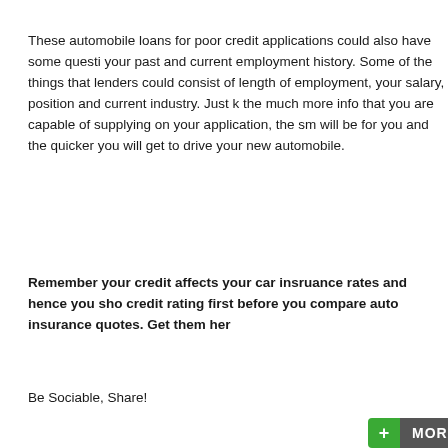These automobile loans for poor credit applications could also have some questions about your past and current employment history. Some of the things that lenders could consist of length of employment, your salary, position and current industry. Just know the much more info that you are capable of supplying on your application, the smoother it will be for you and the quicker you will get to drive your new automobile.
Remember your credit affects your car insruance rates and hence you should fix your credit rating first before you compare auto insurance quotes. Get them here.
Be Sociable, Share!
[Figure (screenshot): ShareThis +MORE button (green plus icon with dark grey MORE label)]
[Figure (screenshot): Twitter Tweet button with blue bird icon]